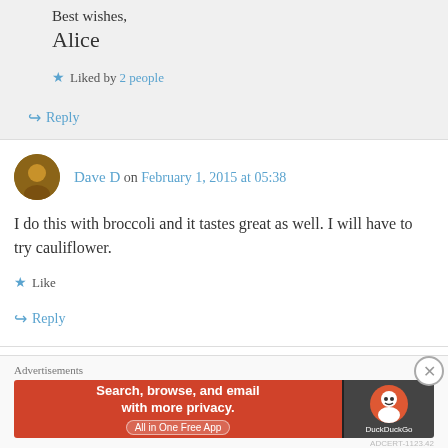Best wishes,
Alice
★ Liked by 2 people
↪ Reply
Dave D on February 1, 2015 at 05:38
I do this with broccoli and it tastes great as well. I will have to try cauliflower.
★ Like
↪ Reply
Advertisements
[Figure (screenshot): DuckDuckGo advertisement banner: Search, browse, and email with more privacy. All in One Free App]